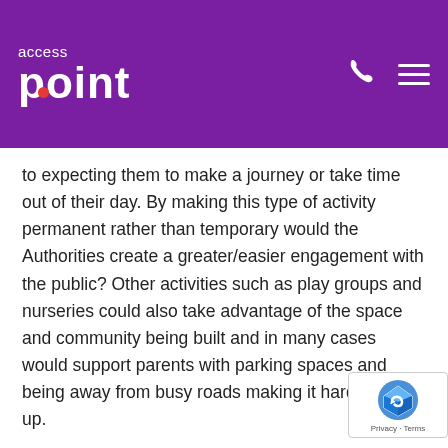access point
to expecting them to make a journey or take time out of their day. By making this type of activity permanent rather than temporary would the Authorities create a greater/easier engagement with the public? Other activities such as play groups and nurseries could also take advantage of the space and community being built and in many cases would support parents with parking spaces and being away from busy roads making it hard to pick up.
Who knows, your local MP may also see value in basing surgeries where the public are!
Including, or building in, an element of flexibility would also support the goals of the venue, ensuring something new would always be coming along through the use of pop-up shops, kiosks in the inclusion of promoters and traders. This element could also su the sense of community – flu jabs in October/November, pop-up